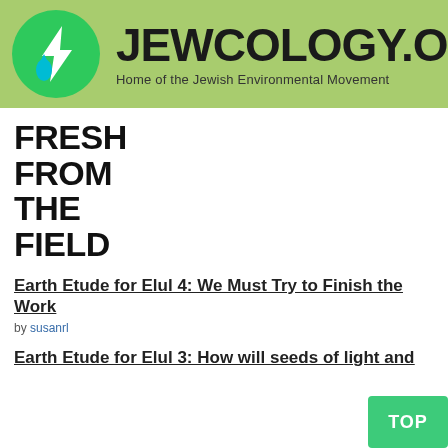[Figure (logo): Jewcology.org website header with green circle logo containing a leaf/drop icon, site name JEWCOLOGY.ORG in bold black, subtitle: Home of the Jewish Environmental Movement, on a light green background]
FRESH FROM THE FIELD
Earth Etude for Elul 4: We Must Try to Finish the Work
by susanrl
Earth Etude for Elul 3: How will seeds of light and